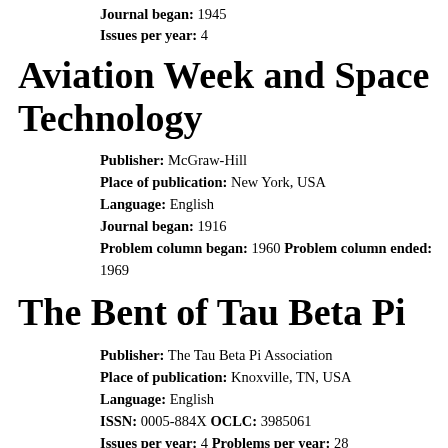Journal began: 1945
Issues per year: 4
Aviation Week and Space Technology
Publisher: McGraw-Hill
Place of publication: New York, USA
Language: English
Journal began: 1916
Problem column began: 1960 Problem column ended: 1969
The Bent of Tau Beta Pi
Publisher: The Tau Beta Pi Association
Place of publication: Knoxville, TN, USA
Language: English
ISSN: 0005-884X OCLC: 3985061
Issues per year: 4 Problems per year: 28
Subscription information: